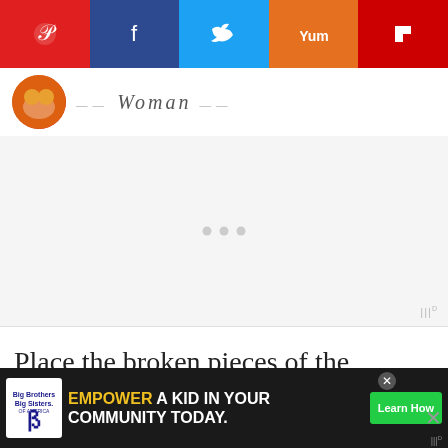[Figure (screenshot): Social sharing bar with Pinterest, Facebook, Twitter, Yummly, and Flipboard buttons]
[Figure (logo): Website logo with circular badge and 'Woman' text]
[Figure (screenshot): Advertisement placeholder area with loading dots and wpp badge]
Place the broken pieces of the Smashed Object onto the grout and press them in little. (Be careful – there are some sharp edges there!) Once you have the covered with larger pieces, fill in smaller
[Figure (screenshot): What's Next panel showing 'Pop's Spicy Garlic Dill...' with thumbnail]
[Figure (screenshot): Bottom advertisement banner: Big Brothers Big Sisters - EMPOWER A KID IN YOUR COMMUNITY TODAY. Learn How]